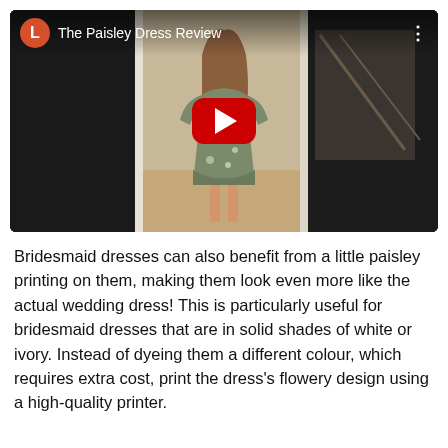[Figure (screenshot): YouTube video embed showing a woman standing in a home entryway wearing a floral/paisley dress. The video thumbnail has a YouTube-style play button overlay. The top bar shows a red 'L' avatar circle, the title 'The Paisley Dress Review', and a three-dot menu icon.]
Bridesmaid dresses can also benefit from a little paisley printing on them, making them look even more like the actual wedding dress! This is particularly useful for bridesmaid dresses that are in solid shades of white or ivory. Instead of dyeing them a different colour, which requires extra cost, print the dress's flowery design using a high-quality printer.